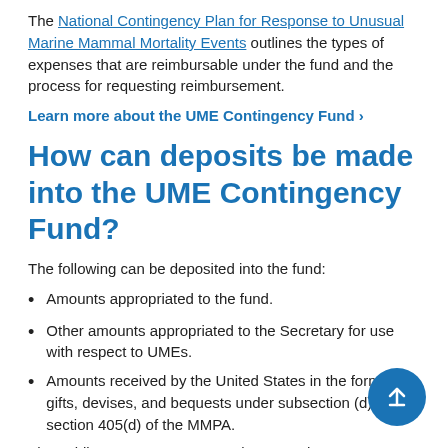The National Contingency Plan for Response to Unusual Marine Mammal Mortality Events outlines the types of expenses that are reimbursable under the fund and the process for requesting reimbursement.
Learn more about the UME Contingency Fund >
How can deposits be made into the UME Contingency Fund?
The following can be deposited into the fund:
Amounts appropriated to the fund.
Other amounts appropriated to the Secretary for use with respect to UMEs.
Amounts received by the United States in the form of gifts, devises, and bequests under subsection (d) of section 405(d) of the MMPA.
The public may use Pay.gov to donate to the UME Contingency Fund for this or other UMEs and help cover